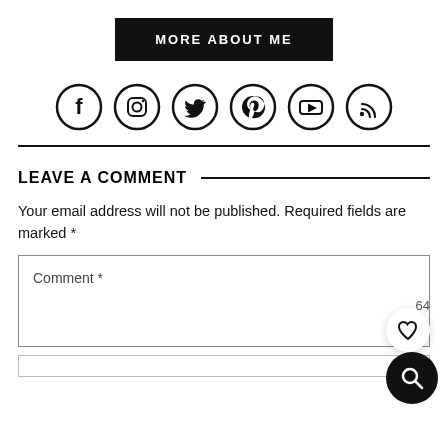[Figure (other): Black button with text MORE ABOUT ME]
[Figure (other): Row of 6 social media icons: Facebook, Instagram, Twitter, Pinterest, YouTube, RSS]
LEAVE A COMMENT
Your email address will not be published. Required fields are marked *
Comment *
[Figure (other): Empty comment textarea input field]
[Figure (other): Empty text input field below comment box]
[Figure (other): Floating heart icon button (white circle)]
[Figure (other): Floating search icon button (black circle)]
64